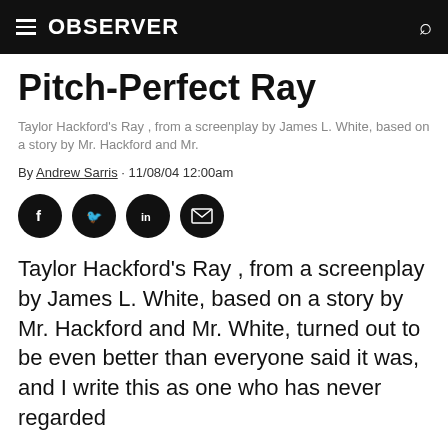OBSERVER
Pitch-Perfect Ray
Taylor Hackford's Ray , from a screenplay by James L. White, based on a story by Mr. Hackford and Mr.
By Andrew Sarris · 11/08/04 12:00am
[Figure (other): Social media share icons: Facebook, Twitter, LinkedIn, Email]
Taylor Hackford's Ray , from a screenplay by James L. White, based on a story by Mr. Hackford and Mr. White, turned out to be even better than everyone said it was, and I write this as one who has never regarded